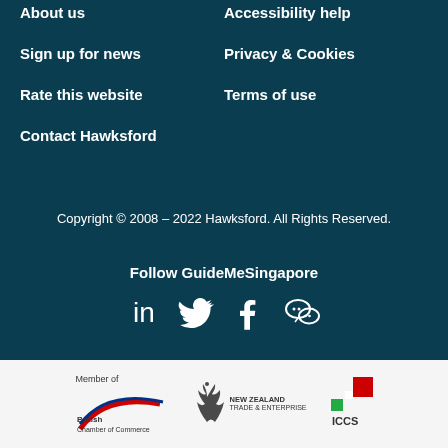About us
Accessibility help
Sign up for news
Privacy & Cookies
Rate this website
Terms of use
Contact Hawksford
Copyright © 2008 – 2022 Hawksford. All Rights Reserved.
Follow GuideMeSingapore
[Figure (infographic): Social media icons: LinkedIn, Twitter, Facebook, WeChat]
[Figure (logo): Member of British Chamber of Commerce logo, New Zealand Trade & Enterprise logo, ICCS logo]